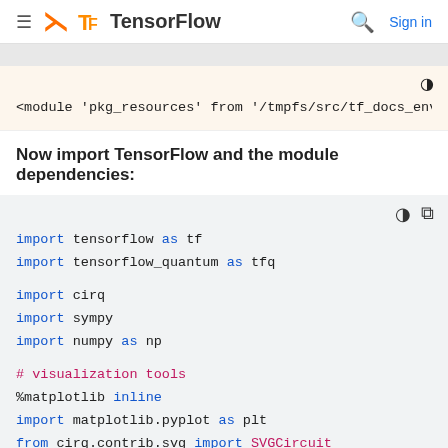TensorFlow | Sign in
<module 'pkg_resources' from '/tmpfs/src/tf_docs_env/l
Now import TensorFlow and the module dependencies:
import tensorflow as tf
import tensorflow_quantum as tfq

import cirq
import sympy
import numpy as np

# visualization tools
%matplotlib inline
import matplotlib.pyplot as plt
from cirq.contrib.svg import SVGCircuit